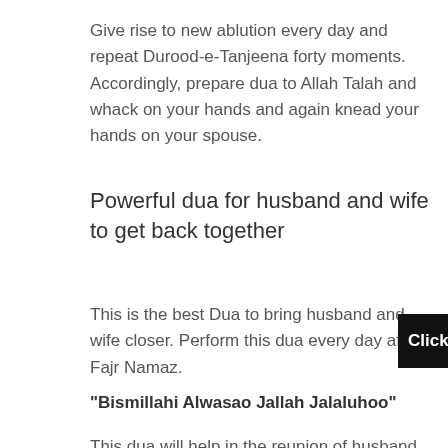Give rise to new ablution every day and repeat Durood-e-Tanjeena forty moments. Accordingly, prepare dua to Allah Talah and whack on your hands and again knead your hands on your spouse.
Powerful dua for husband and wife to get back together
This is the best Dua to bring husband and wife closer. Perform this dua every day after Fajr Namaz.
"Bismillahi Alwasao Jallah Jalaluhoo"
This dua will help in the reunion of husband and wife. Bring about dua to Allah Talah to create your marriage healthily and powerful and perform a handful zakat day-to-day till 40 days in the word of